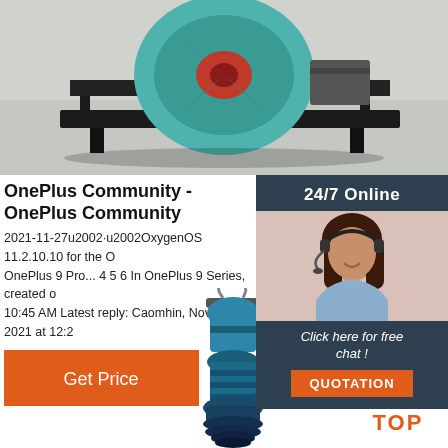[Figure (photo): Industrial fan/blower machine on a black frame in a warehouse/factory setting, viewed from above at an angle. The fan has a teal/green casing with a red center.]
OnePlus Community - OnePlus Community
2021-11-27u2002·u2002OxygenOS 11.2.10.10 for the OnePlus 9 Pro... 4 5 6 In OnePlus 9 Series, created on 10:45 AM Latest reply: Caomhin, Nov 27, 2021 at 12:2
[Figure (photo): Button/widget: 24/7 Online with customer service woman wearing headset, smiling. Dark navy background. Below: 'Click here for free chat !' and orange QUOTATION button.]
[Figure (illustration): Orange 'Get Price' button rectangle]
[Figure (photo): Vertical submersible water pump, blue/teal colored, with cables at top.]
[Figure (illustration): Orange dotted TOP navigation icon with dots arranged in triangle above the text TOP in orange bold letters.]